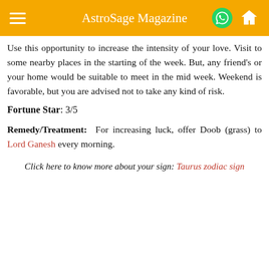AstroSage Magazine
Use this opportunity to increase the intensity of your love. Visit to some nearby places in the starting of the week. But, any friend’s or your home would be suitable to meet in the mid week. Weekend is favorable, but you are advised not to take any kind of risk.
Fortune Star: 3/5
Remedy/Treatment: For increasing luck, offer Doob (grass) to Lord Ganesh every morning.
Click here to know more about your sign: Taurus zodiac sign